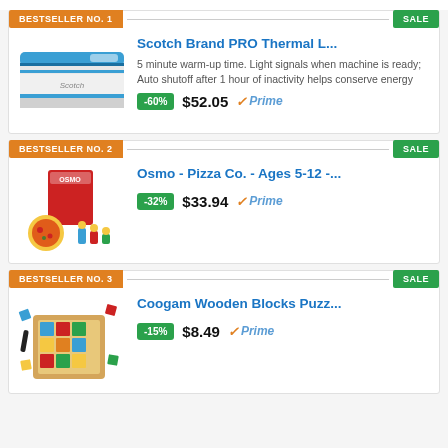BESTSELLER NO. 1
SALE
Scotch Brand PRO Thermal L...
5 minute warm-up time. Light signals when machine is ready; Auto shutoff after 1 hour of inactivity helps conserve energy
-60%  $52.05  Prime
BESTSELLER NO. 2
SALE
Osmo - Pizza Co. - Ages 5-12 -...
-32%  $33.94  Prime
BESTSELLER NO. 3
SALE
Coogam Wooden Blocks Puzz...
-15%  $8.49  Prime